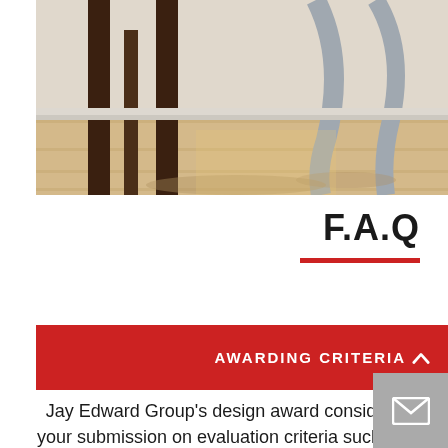[Figure (photo): Photo of chair legs and table legs on a light wood floor, showing dark wooden bar stools and a silver/metallic chair leg, with dramatic shadows from window light.]
F.A.Q
AWARDING CRITERIA
Jay Edward Group's design award considers your submission on evaluation criteria such as: